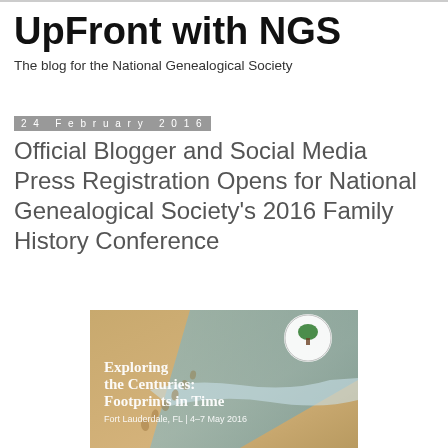UpFront with NGS
The blog for the National Genealogical Society
24 February 2016
Official Blogger and Social Media Press Registration Opens for National Genealogical Society's 2016 Family History Conference
[Figure (photo): Conference promotional image showing beach with footprints in sand at water's edge. Text overlay reads: Exploring the Centuries: Footprints in Time. Fort Lauderdale, FL | 4–7 May 2016. National Genealogical Society logo in upper right.]